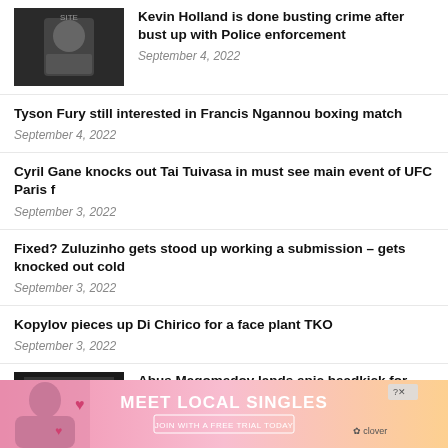[Figure (photo): Fighter portrait photo thumbnail]
Kevin Holland is done busting crime after bust up with Police enforcement
September 4, 2022
Tyson Fury still interested in Francis Ngannou boxing match
September 4, 2022
Cyril Gane knocks out Tai Tuivasa in must see main event of UFC Paris f
September 3, 2022
Fixed? Zuluzinho gets stood up working a submission – gets knocked out cold
September 3, 2022
Kopylov pieces up Di Chirico for a face plant TKO
September 3, 2022
[Figure (photo): Fighter action photo thumbnail]
Abus Magomedov lands epic headkick for TKO
[Figure (infographic): Advertisement banner: MEET LOCAL SINGLES – JOIN WITH A FREE TRIAL TODAY – Clover app]